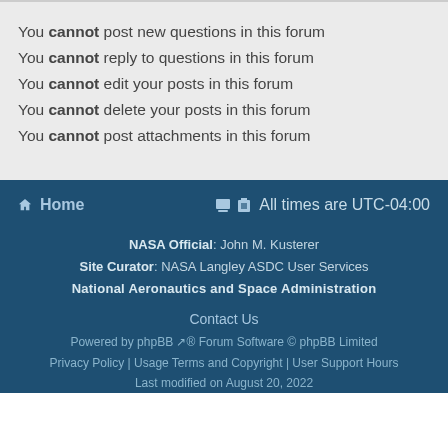You cannot post new questions in this forum
You cannot reply to questions in this forum
You cannot edit your posts in this forum
You cannot delete your posts in this forum
You cannot post attachments in this forum
Home | All times are UTC-04:00 | NASA Official: John M. Kusterer | Site Curator: NASA Langley ASDC User Services | National Aeronautics and Space Administration | Contact Us | Powered by phpBB® Forum Software © phpBB Limited | Privacy Policy | Usage Terms and Copyright | User Support Hours | Last modified on August 20, 2022